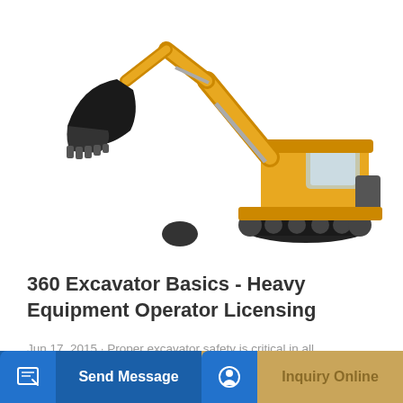[Figure (photo): Yellow and black 360 excavator / heavy equipment machine on white background, showing arm, bucket, cab, and tracks.]
360 Excavator Basics - Heavy Equipment Operator Licensing
Jun 17, 2015 · Proper excavator safety is critical in all operations. Whether you are an experienced operator or completely new to excavation and trenching, we've...
Learn More
Send Message
Inquiry Online